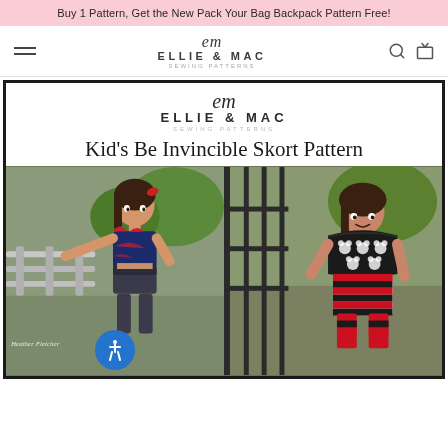Buy 1 Pattern, Get the New Pack Your Bag Backpack Pattern Free!
[Figure (logo): Ellie & Mac Sewing Patterns logo in header navigation with hamburger menu, search icon, and bag icon]
[Figure (logo): Ellie & Mac Sewing Patterns main logo inside product page frame]
Kid's Be Invincible Skort Pattern
[Figure (photo): Two photos side by side of children wearing skort patterns. Left: girl in navy/red tie-dye crop top and dark skort leaning on fence. Right: girl in black Mickey Mouse print off-shoulder top with red/black striped skort standing by iron gate.]